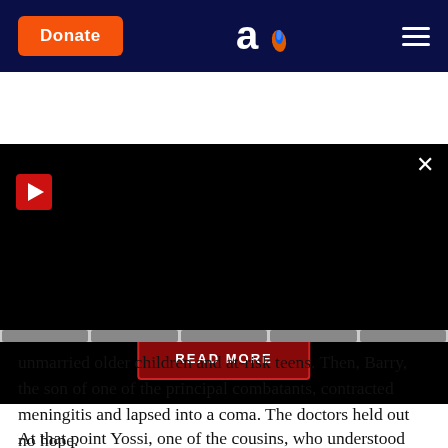Donate | [logo] | [menu]
[Figure (screenshot): Black video player area with play button (red square with white triangle) at top-left, close button (×) at top-right, and a red 'READ MORE' button centered near the bottom. Below the video are gray progress/tab indicator bars.]
unmarried older children and at-risk teens. Then, Barry, the son of one of the principal combatants, contracted meningitis and lapsed into a coma. The doctors held out no hope.
At that point Yossi, one of the cousins, who understood the spiritual reality that hostility kills, undertook to end the family feud. He drew up an official document of forgiveness. He went around to all 32 cousins, pleading, "Barry's going to die if you don't sign." After days of